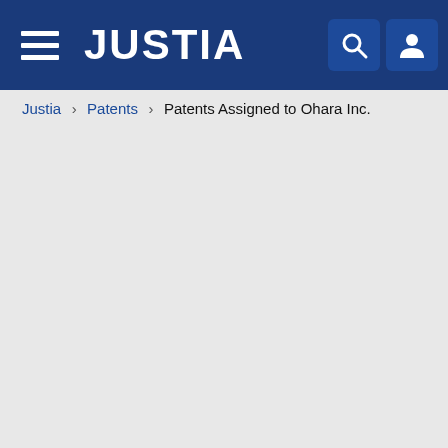JUSTIA
Justia › Patents › Patents Assigned to Ohara Inc.